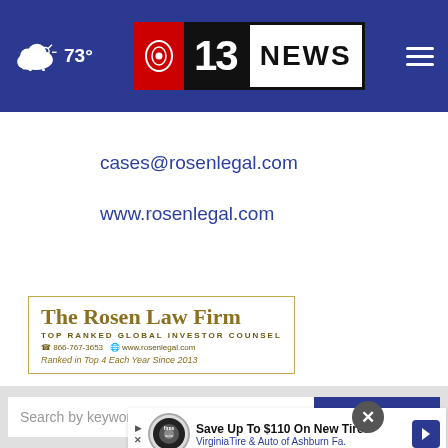[Figure (screenshot): CBS 13 News website header with weather showing cloud icon and 73°, CBS 13 News logo in center, and hamburger menu icon on right, all on dark blue background]
cases@rosenlegal.com
www.rosenlegal.com
[Figure (logo): The Rosen Law Firm logo - TOP RANKED GLOBAL INVESTOR COUNSEL - 866-767-3653 - www.rosenlegal.com - Ranked in Top 4 Each Year Since 2013]
[Figure (screenshot): Search by keyword input field with SEARCH button and close X circle overlay]
[Figure (screenshot): Advertisement banner: Save Up To $110 On New Tires - VirginiaTire & Auto of Ashburn Fa.]